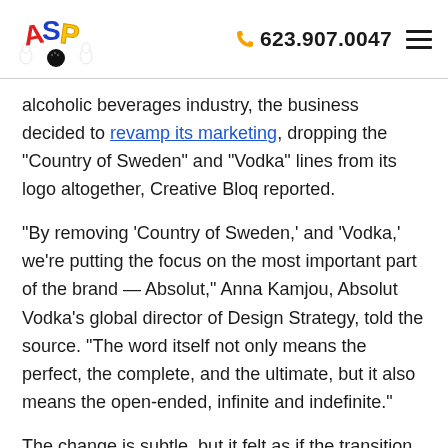623.907.0047
alcoholic beverages industry, the business decided to revamp its marketing, dropping the "Country of Sweden" and "Vodka" lines from its logo altogether, Creative Bloq reported.
"By removing 'Country of Sweden,' and 'Vodka,' we're putting the focus on the most important part of the brand — Absolut," Anna Kamjou, Absolut Vodka's global director of Design Strategy, told the source. "The word itself not only means the perfect, the complete, and the ultimate, but it also means the open-ended, infinite and indefinite."
The change is subtle, but it felt as if the transition to